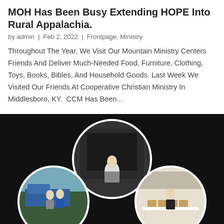MOH Has Been Busy Extending HOPE Into Rural Appalachia.
by admin | Feb 2, 2022 | Frontpage, Ministry
Throughout The Year, We Visit Our Mountain Ministry Centers Friends And Deliver Much-Needed Food, Furniture, Clothing, Toys, Books, Bibles, And Household Goods. Last Week We Visited Our Friends At Cooperative Christian Ministry In Middlesboro, KY.  CCM Has Been...
[Figure (photo): Composite of three circular photos on dark background: top circle shows a man standing in front of open cargo van; bottom-left circle shows two men shaking hands next to a blue truck; bottom-right circle shows a man standing at a table with boxes in what appears to be a gymnasium.]